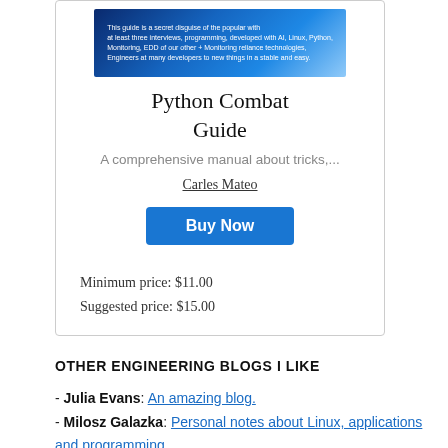[Figure (illustration): Book cover of Python Combat Guide with dark blue gradient background and small white text]
Python Combat Guide
A comprehensive manual about tricks,...
Carles Mateo
Buy Now
Minimum price: $11.00
Suggested price: $15.00
OTHER ENGINEERING BLOGS I LIKE
- Julia Evans: An amazing blog.
- Milosz Galazka: Personal notes about Linux, applications and programming.
- Thorsten Hans: Consultant, Developer, deep focus on